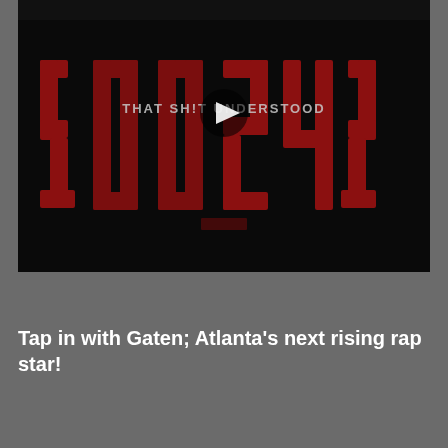[Figure (screenshot): Dark video thumbnail showing large red stylized numbers/letters forming '2024' on a black background with text 'THAT SHIT UNDERSTOOD' overlaid in gray, and a circular play button in the center.]
Tap in with Gaten; Atlanta's next rising rap star!